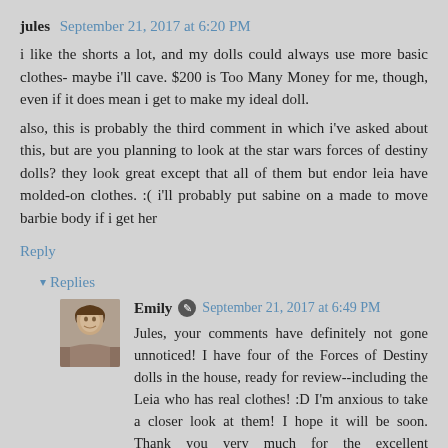jules September 21, 2017 at 6:20 PM
i like the shorts a lot, and my dolls could always use more basic clothes- maybe i'll cave. $200 is Too Many Money for me, though, even if it does mean i get to make my ideal doll.
also, this is probably the third comment in which i've asked about this, but are you planning to look at the star wars forces of destiny dolls? they look great except that all of them but endor leia have molded-on clothes. :( i'll probably put sabine on a made to move barbie body if i get her
Reply
▾ Replies
Emily  September 21, 2017 at 6:49 PM
Jules, your comments have definitely not gone unnoticed! I have four of the Forces of Destiny dolls in the house, ready for review--including the Leia who has real clothes! :D I'm anxious to take a closer look at them! I hope it will be soon. Thank you very much for the excellent suggestion!!